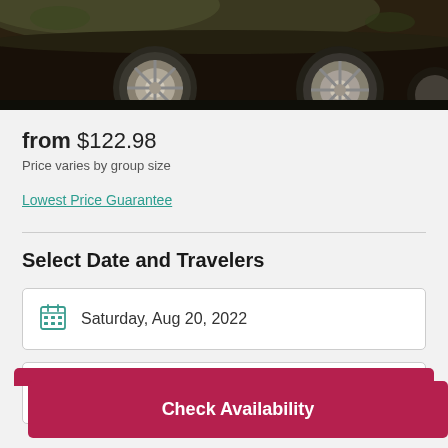[Figure (photo): Dark photograph showing the bottom portion of a car, including wheels and undercarriage, on dark ground with some foliage visible.]
from $122.98
Price varies by group size
Lowest Price Guarantee
Select Date and Travelers
Saturday, Aug 20, 2022
Number of travelers
Check Availability